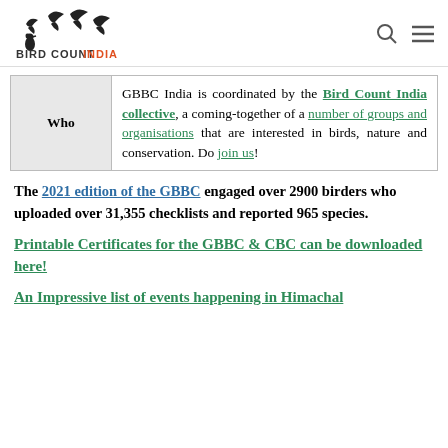Bird Count India
| Who | Description |
| --- | --- |
| Who | GBBC India is coordinated by the Bird Count India collective, a coming-together of a number of groups and organisations that are interested in birds, nature and conservation. Do join us! |
The 2021 edition of the GBBC engaged over 2900 birders who uploaded over 31,355 checklists and reported 965 species.
Printable Certificates for the GBBC & CBC can be downloaded here!
An Impressive list of events happening in Himachal